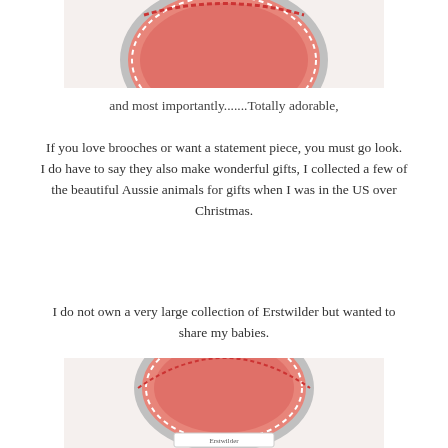[Figure (photo): Top portion of a pink round brooch in a white box, showing stitched edge detail, partially cropped at top]
and most importantly.......Totally adorable,
If you love brooches or want a statement piece, you must go look. I do have to say they also make wonderful gifts, I collected a few of the beautiful Aussie animals for gifts when I was in the US over Christmas.
I do not own a very large collection of Erstwilder but wanted to share my babies.
[Figure (photo): Bottom portion showing an oval pink brooch in a white box with partial label visible at bottom, partially cropped]